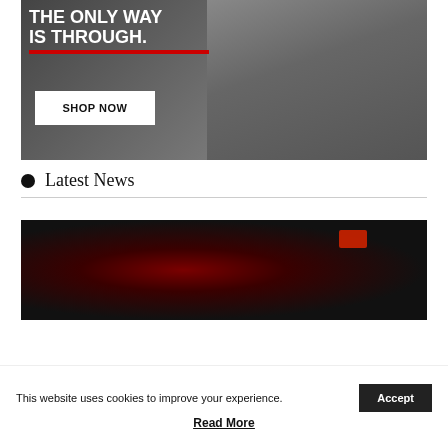[Figure (photo): Advertisement banner showing a person in athletic wear with text 'THE ONLY WAY IS THROUGH.' and a red underline, plus a white 'SHOP NOW' button]
Latest News
[Figure (photo): Dark photo of a person with ponytail hair viewed from behind, with red bokeh lighting in a dark athletic/fitness environment]
This website uses cookies to improve your experience.
Accept
Read More